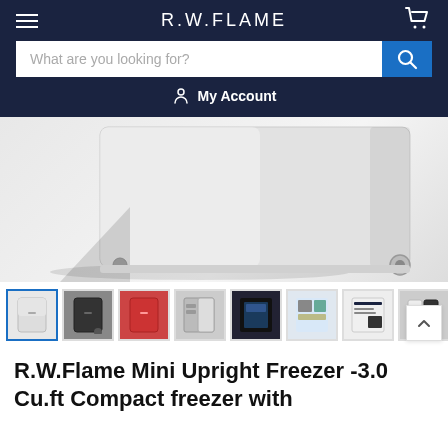R.W.FLAME
[Figure (screenshot): Search bar with placeholder text 'What are you looking for?' and blue search button]
My Account
[Figure (photo): White mini upright freezer product image showing bottom portion with roller wheels on a light gray background]
[Figure (photo): Product thumbnail gallery strip showing 9 thumbnail images of the freezer in various colors and angles including white, black, red variants]
R.W.Flame Mini Upright Freezer -3.0 Cu.ft Compact freezer with